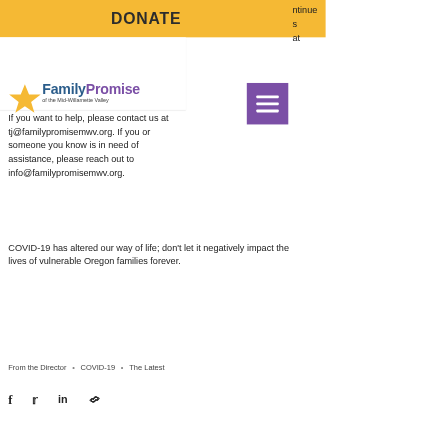DONATE
[Figure (logo): Family Promise of the Mid-Willamette Valley logo with gold star and blue/purple text]
If you want to help, please contact us at tj@familypromisemwv.org. If you or someone you know is in need of assistance, please reach out to info@familypromisemwv.org.
COVID-19 has altered our way of life; don't let it negatively impact the lives of vulnerable Oregon families forever.
From the Director  •  COVID-19  •  The Latest